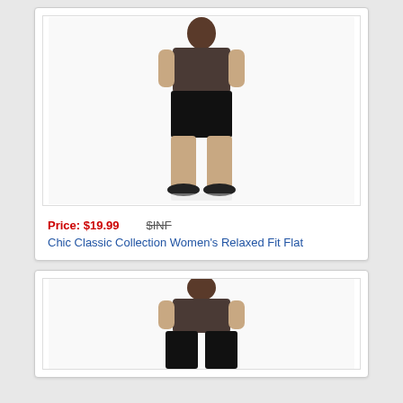[Figure (photo): Back view of a woman wearing black shorts and black flat shoes, standing against a white background.]
Price: $19.99   $INF
Chic Classic Collection Women's Relaxed Fit Flat
[Figure (photo): Back view of a woman wearing black wide-leg pants, standing against a white background, partially cropped.]